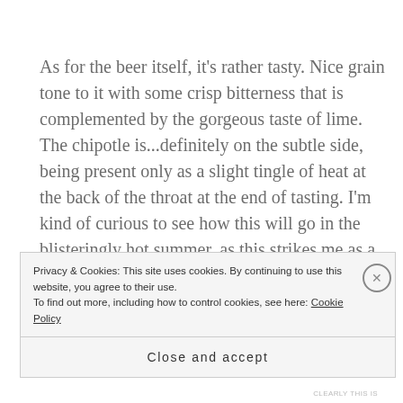As for the beer itself, it's rather tasty. Nice grain tone to it with some crisp bitterness that is complemented by the gorgeous taste of lime. The chipotle is...definitely on the subtle side, being present only as a slight tingle of heat at the back of the throat at the end of tasting. I'm kind of curious to see how this will go in the blisteringly hot summer, as this strikes me as a little too malty for a the season. But then again, I've been proven wrong before. All in all, the lime was definitely the star of the show and it was quite
Privacy & Cookies: This site uses cookies. By continuing to use this website, you agree to their use.
To find out more, including how to control cookies, see here: Cookie Policy
Close and accept
CLEARLY THIS IS